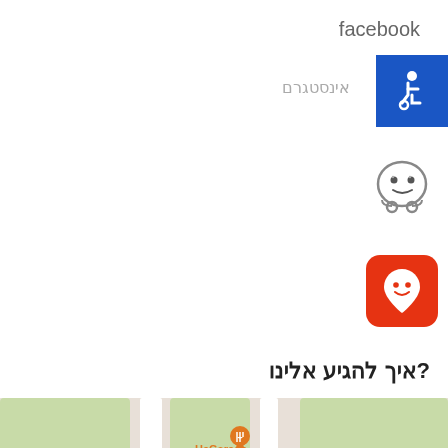facebook
אינסטגרם
[Figure (illustration): Blue accessibility icon button with wheelchair symbol]
[Figure (logo): Waze navigation app icon - smiling face with car wheels]
[Figure (logo): Moovit app icon - orange rounded square with smiling face location pin]
איך להגיע אלינו?
[Figure (map): Google Maps screenshot showing YISGAV area with HaGarage, Hudson Brasserie, Segev Express, POMO restaurants and navigation arrow]
[Figure (illustration): WhatsApp green button with text דברו איתנו and subtitle מידע/דעות בלבד]